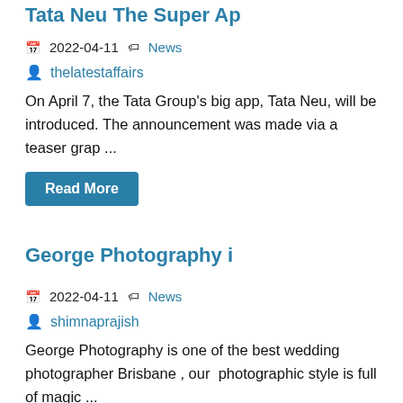Tata Neu The Super Ap
2022-04-11  News
thelatestaffairs
On April 7, the Tata Group's big app, Tata Neu, will be introduced. The announcement was made via a teaser grap ...
Read More
George Photography i
2022-04-11  News
shimnaprajish
George Photography is one of the best wedding photographer Brisbane , our  photographic style is full of magic ...